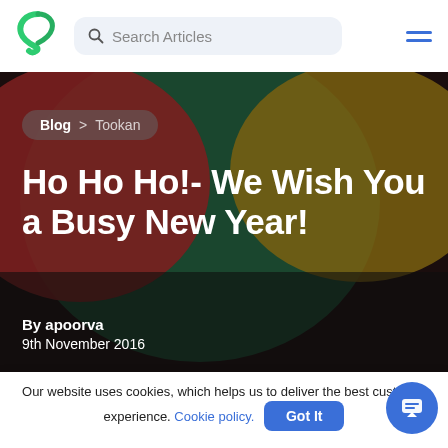Search Articles
[Figure (screenshot): Hero image with abstract colorful blobs on dark background — red, green, dark gold colors]
Blog > Tookan
Ho Ho Ho!- We Wish You a Busy New Year!
By apoorva
9th November 2016
Our website uses cookies, which helps us to deliver the best customer experience. Cookie policy. Got It